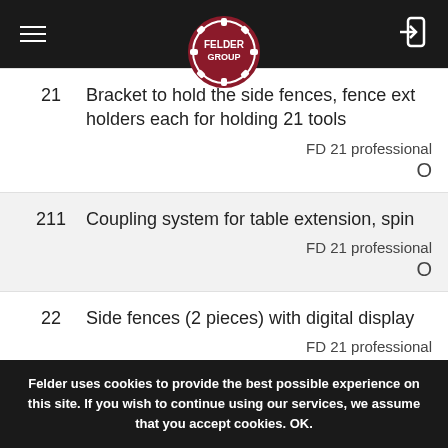Felder Group
21 – Bracket to hold the side fences, fence ext holders each for holding 21 tools. FD 21 professional O
211 – Coupling system for table extension, spin. FD 21 professional O
22 – Side fences (2 pieces) with digital display. FD 21 professional O
Felder uses cookies to provide the best possible experience on this site. If you wish to continue using our services, we assume that you accept cookies. OK.